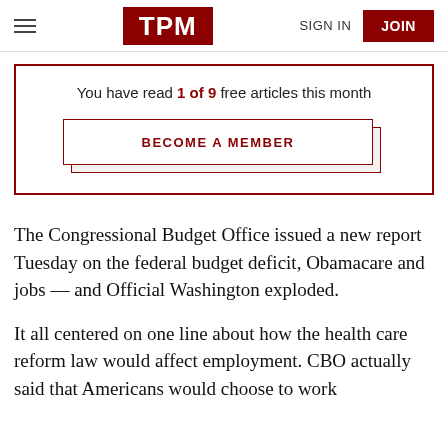TPM | SIGN IN | JOIN
You have read 1 of 9 free articles this month
BECOME A MEMBER
The Congressional Budget Office issued a new report Tuesday on the federal budget deficit, Obamacare and jobs — and Official Washington exploded.
It all centered on one line about how the health care reform law would affect employment. CBO actually said that Americans would choose to work